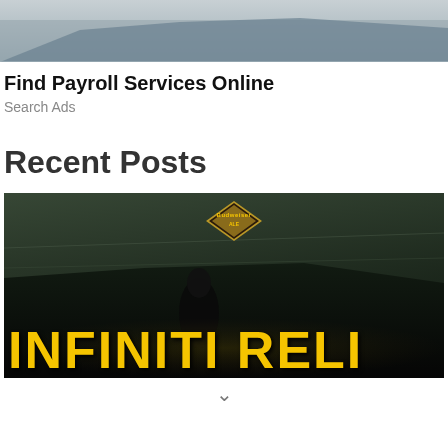[Figure (photo): Partial top image showing what appears to be a rooftop or structure against a grey sky]
Find Payroll Services Online
Search Ads
Recent Posts
[Figure (photo): Dark gaming or promotional image showing 'INFINITI RELI' text in large yellow letters with a diamond-shaped badge above it on a dark background]
↓